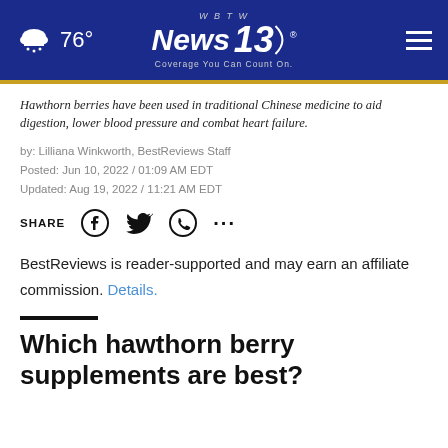76° WBTW News 13 Coverage You Can Count On.
Hawthorn berries have been used in traditional Chinese medicine to aid digestion, lower blood pressure and combat heart failure.
by: Lilliana Winkworth, BestReviews Staff
Posted: Jun 10, 2022 / 01:09 AM EDT
Updated: Aug 19, 2022 / 11:21 AM EDT
SHARE
BestReviews is reader-supported and may earn an affiliate commission. Details.
Which hawthorn berry supplements are best?